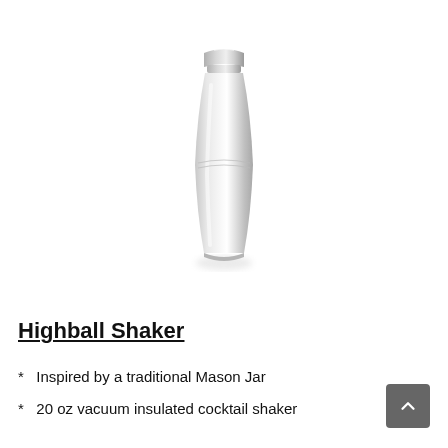[Figure (photo): A silver stainless steel highball cocktail shaker with a smooth cylindrical body, slightly wider in the middle, with a fitted top cap. The shaker has a polished metallic finish and is photographed against a white background.]
Highball Shaker
Inspired by a traditional Mason Jar
20 oz vacuum insulated cocktail shaker